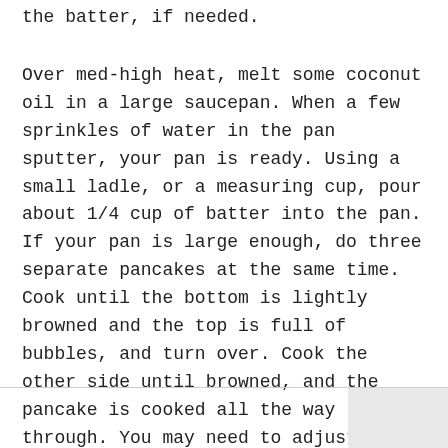the batter, if needed.
Over med-high heat, melt some coconut oil in a large saucepan. When a few sprinkles of water in the pan sputter, your pan is ready. Using a small ladle, or a measuring cup, pour about 1/4 cup of batter into the pan. If your pan is large enough, do three separate pancakes at the same time. Cook until the bottom is lightly browned and the top is full of bubbles, and turn over. Cook the other side until browned, and the pancake is cooked all the way through. You may need to adjust the heat as you continue to make your pancakes. Remove your pancakes and keep in the oven at 200 degrees on a cookie sheet while you make the rest of the pancakes.